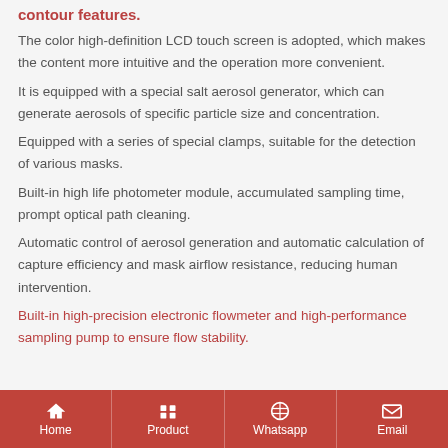contour features.
The color high-definition LCD touch screen is adopted, which makes the content more intuitive and the operation more convenient.
It is equipped with a special salt aerosol generator, which can generate aerosols of specific particle size and concentration.
Equipped with a series of special clamps, suitable for the detection of various masks.
Built-in high life photometer module, accumulated sampling time, prompt optical path cleaning.
Automatic control of aerosol generation and automatic calculation of capture efficiency and mask airflow resistance, reducing human intervention.
Built-in high-precision electronic flowmeter and high-performance sampling pump to ensure flow stability.
Home   Product   Whatsapp   Email